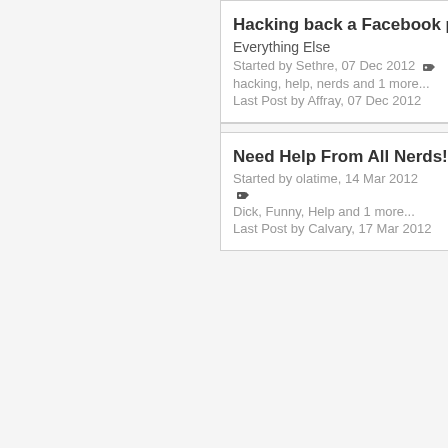Hacking back a Facebook pag... Everything Else Started by Sethre, 07 Dec 2012 hacking, help, nerds and 1 more... Last Post by Affray, 07 Dec 2012
Need Help From All Nerds! in I... Started by olatime, 14 Mar 2012 Dick, Funny, Help and 1 more... Last Post by Calvary, 17 Mar 2012